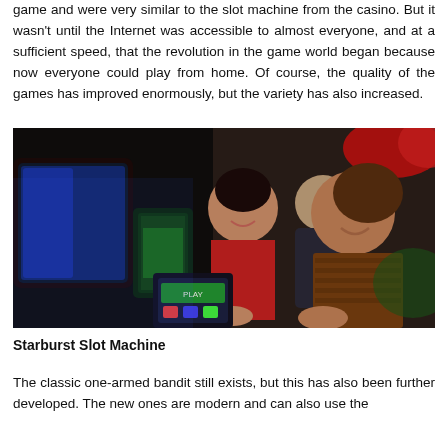game and were very similar to the slot machine from the casino. But it wasn't until the Internet was accessible to almost everyone, and at a sufficient speed, that the revolution in the game world began because now everyone could play from home. Of course, the quality of the games has improved enormously, but the variety has also increased.
[Figure (photo): Two women smiling and laughing while playing slot machines at a casino, with colorful slot machine screens visible in the background.]
Starburst Slot Machine
The classic one-armed bandit still exists, but this has also been further developed. The new ones are modern and can also use the